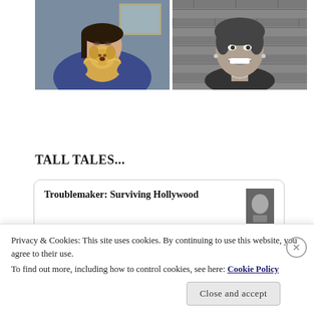[Figure (photo): Two side-by-side photos: left shows a woman in a blue sweater holding a small fluffy golden puppy (color photo); right shows a young woman smiling at the camera against a brick wall background (black and white photo).]
TALL TALES...
[Figure (screenshot): Book recommendation card with title 'Troublemaker: Surviving Hollywood' and a small book cover image on the right.]
Privacy & Cookies: This site uses cookies. By continuing to use this website, you agree to their use. To find out more, including how to control cookies, see here: Cookie Policy